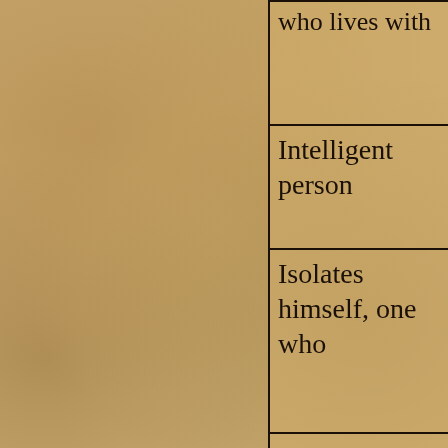|  |  |
| --- | --- |
| who lives with |  |
| Intelligent person |  |
| Isolates himself, one who |  |
| Just |  |
| Keeps |  |